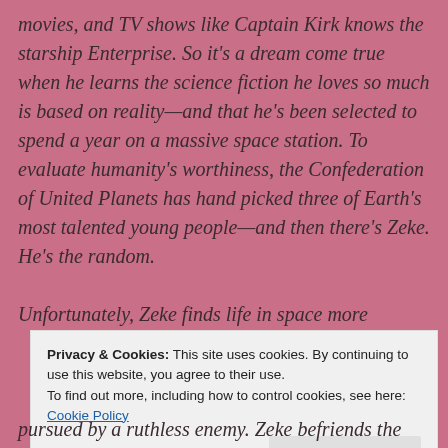movies, and TV shows like Captain Kirk knows the starship Enterprise. So it's a dream come true when he learns the science fiction he loves so much is based on reality—and that he's been selected to spend a year on a massive space station. To evaluate humanity's worthiness, the Confederation of United Planets has hand picked three of Earth's most talented young people—and then there's Zeke. He's the random.
Unfortunately, Zeke finds life in space more
Privacy & Cookies: This site uses cookies. By continuing to use this website, you agree to their use.
To find out more, including how to control cookies, see here: Cookie Policy
pursued by a ruthless enemy. Zeke befriends the